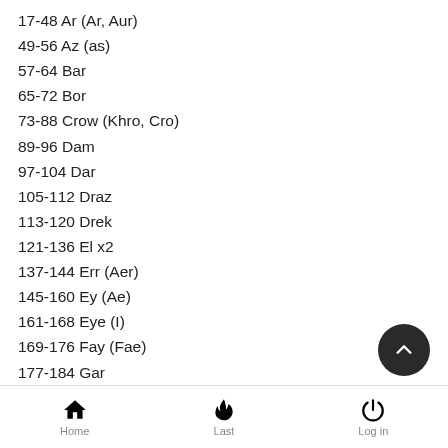17-48 Ar (Ar, Aur)
49-56 Az (as)
57-64 Bar
65-72 Bor
73-88 Crow (Khro, Cro)
89-96 Dam
97-104 Dar
105-112 Draz
113-120 Drek
121-136 El x2
137-144 Err (Aer)
145-160 Ey (Ae)
161-168 Eye (I)
169-176 Fay (Fae)
177-184 Gar
185-192 Gizz (Ghyz)
193-200 Gon (Ghon)
201-208 Goo (Ghu)
Home   Last   Log in